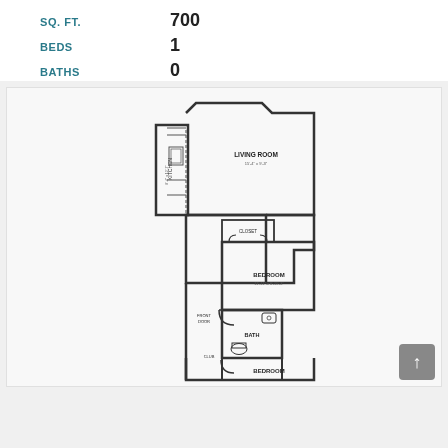SQ. FT.    700
BEDS    1
BATHS    0
[Figure (engineering-diagram): Apartment floor plan showing Kitchen, Living Room (15'-4" x 9'-3"), Bedroom (11'-11" x 8'-15'-3"), Closet, Bath, Front Door, and a second Bedroom partially visible at bottom. The layout is narrow and vertical with rooms stacked top to bottom.]